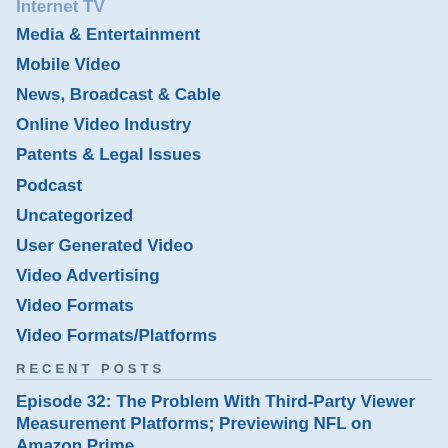Internet TV
Media & Entertainment
Mobile Video
News, Broadcast & Cable
Online Video Industry
Patents & Legal Issues
Podcast
Uncategorized
User Generated Video
Video Advertising
Video Formats
Video Formats/Platforms
Recent Posts
Episode 32: The Problem With Third-Party Viewer Measurement Platforms; Previewing NFL on Amazon Prime
Why Video Engineering Teams Are Taking A Video QoE-First